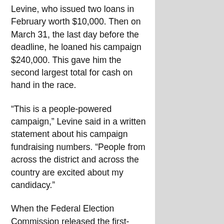Levine, who issued two loans in February worth $10,000. Then on March 31, the last day before the deadline, he loaned his campaign $240,000. This gave him the second largest total for cash on hand in the race.
“This is a people-powered campaign,” Levine said in a written statement about his campaign fundraising numbers. “People from across the district and across the country are excited about my candidacy.”
When the Federal Election Commission released the first-quarter fundraising documents last week, Shuttleworth's original report showed he had a negative campaign balance. The campaign has since filed an amended report, explaining that a software problem created errors in the first document. His amended reports shows he issued several unsecured loans to his campaign totaling $330,000, some of which date back to his last campaign against Moran. His campaign issued a statement,